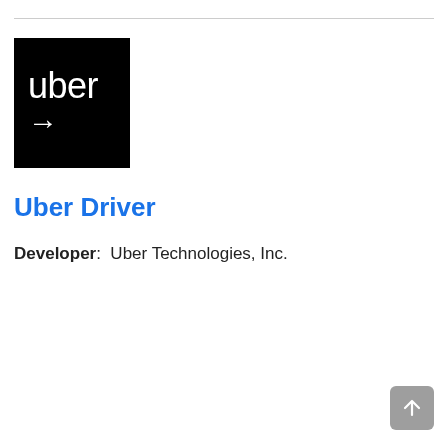[Figure (logo): Uber logo: black square with white 'uber' text and white right-arrow below]
Uber Driver
Developer: Uber Technologies, Inc.